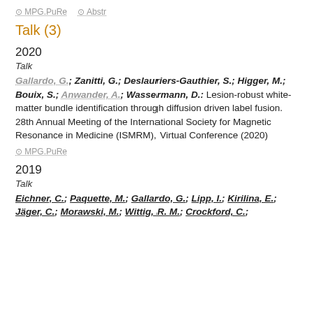⊙ MPG.PuRe  ⊙ Abstr
Talk (3)
2020
Talk
Gallardo, G.; Zanitti, G.; Deslauriers-Gauthier, S.; Higger, M.; Bouix, S.; Anwander, A.; Wassermann, D.: Lesion-robust white-matter bundle identification through diffusion driven label fusion. 28th Annual Meeting of the International Society for Magnetic Resonance in Medicine (ISMRM), Virtual Conference (2020)
⊙ MPG.PuRe
2019
Talk
Eichner, C.; Paquette, M.; Gallardo, G.; Lipp, I.; Kirilina, E.; Jäger, C.; Morawski, M.; Wittig, R. M.; Crockford, C.;